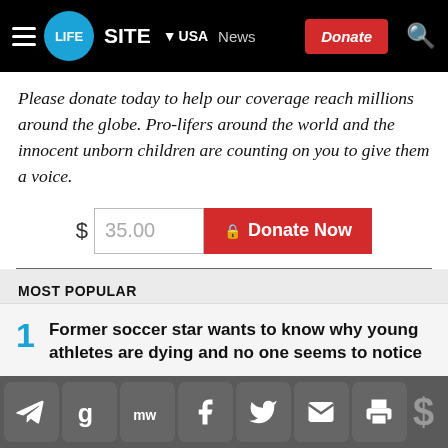LifeSite USA News — Donate
Please donate today to help our coverage reach millions around the globe. Pro-lifers around the world and the innocent unborn children are counting on you to give them a voice.
[Figure (other): Donation widget with dollar sign, amount input showing 35.00, and red Donate Now button]
MOST POPULAR
1 Former soccer star wants to know why young athletes are dying and no one seems to notice
2 Trump COVID official relates shocking saga of
Social sharing toolbar: Telegram, Gettr, MeWe, Facebook, Twitter, Email, Print, Donate